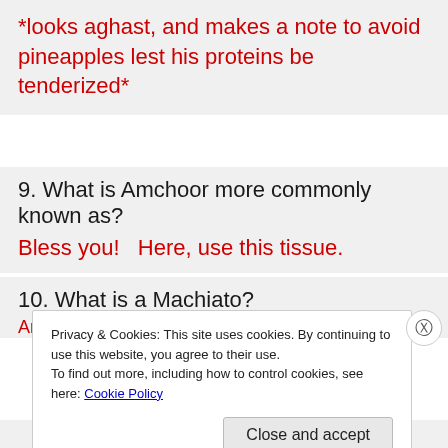*looks aghast, and makes a note to avoid pineapples lest his proteins be tenderized*
9. What is Amchoor more commonly known as?
Bless you!   Here, use this tissue.
10. What is a Machiato?
Another answer, or a squashed tomato or an...
Privacy & Cookies: This site uses cookies. By continuing to use this website, you agree to their use.
To find out more, including how to control cookies, see here: Cookie Policy
Close and accept